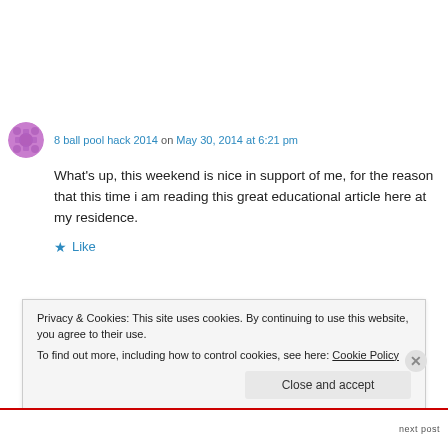8 ball pool hack 2014 on May 30, 2014 at 6:21 pm
What's up, this weekend is nice in support of me, for the reason that this time i am reading this great educational article here at my residence.
★ Like
Privacy & Cookies: This site uses cookies. By continuing to use this website, you agree to their use. To find out more, including how to control cookies, see here: Cookie Policy
Close and accept